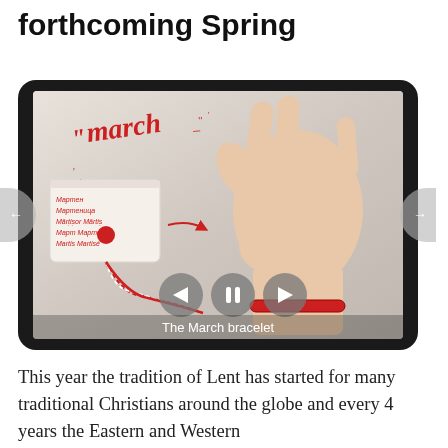forthcoming Spring
[Figure (photo): A photo inside a tablet/device frame showing a hand making an OK gesture near a red-and-white braided March bracelet with a card attached. The word 'march' is written in red cursive letters. Playback controls (back, pause, forward) are visible at the bottom. Caption reads 'The March bracelet'.]
The March bracelet
This year the tradition of Lent has started for many traditional Christians around the globe and every 4 years the Eastern and Western